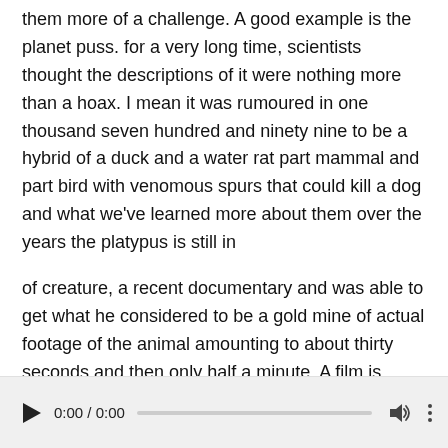them more of a challenge. A good example is the planet puss. for a very long time, scientists thought the descriptions of it were nothing more than a hoax. I mean it was rumoured in one thousand seven hundred and ninety nine to be a hybrid of a duck and a water rat part mammal and part bird with venomous spurs that could kill a dog and what we've learned more about them over the years the platypus is still in
of creature, a recent documentary and was able to get what he considered to be a gold mine of actual footage of the animal amounting to about thirty seconds and then only half a minute. A film is something too celebrate. You know the animal is hard to study. Of course, while research for new species, the ones we do know about our slowly dying
[Figure (other): Audio player bar with play button, time display 0:00 / 0:00, progress bar, volume icon, and options (three dots) icon.]